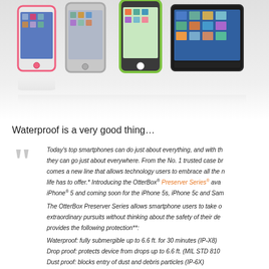[Figure (photo): Four smartphones in OtterBox Preserver Series cases (pink, gray, green/black, black) displayed side by side with reflections below on a light gray/white background.]
Waterproof is a very good thing…
Today's top smartphones can do just about everything, and with the right case, they can go just about everywhere. From the No. 1 trusted case brand comes a new line that allows technology users to embrace all the moments life has to offer.* Introducing the OtterBox® Preserver Series® available now for iPhone® 5 and coming soon for the iPhone 5s, iPhone 5c and Samsung Galaxy S® 4.

The OtterBox Preserver Series allows smartphone users to take on life's most extraordinary pursuits without thinking about the safety of their device. The case provides the following protection**:

Waterproof: fully submergible up to 6.6 ft. for 30 minutes (IP-X8)

Drop proof: protects device from drops up to 6.6 ft. (MIL STD 810G)

Dust proof: blocks entry of dust and debris particles (IP-6X)